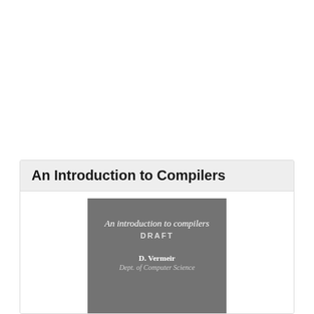An Introduction to Compilers
[Figure (illustration): Book cover thumbnail showing a gray background with text: 'An introduction to compilers DRAFT' and author 'D. Vermeir, Dept. of Computer Science']